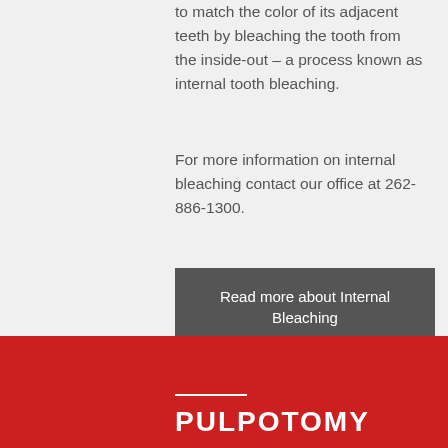to match the color of its adjacent teeth by bleaching the tooth from the inside-out – a process known as internal tooth bleaching.
For more information on internal bleaching contact our office at 262-886-1300.
Read more about Internal Bleaching
PULPOTOMY